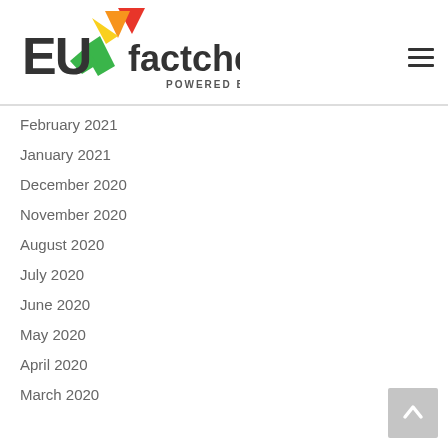[Figure (logo): EUfactcheck.eu logo powered by EJTA — colorful checkmark with EU text]
February 2021
January 2021
December 2020
November 2020
August 2020
July 2020
June 2020
May 2020
April 2020
March 2020